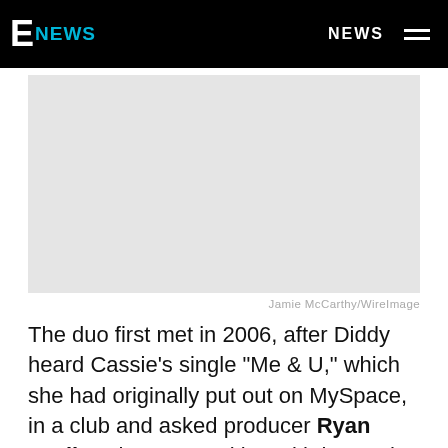E NEWS  NEWS
[Figure (photo): A photo placeholder (light gray rectangle) — image of subject not visible]
Jamie McCarthy/WireImage
The duo first met in 2006, after Diddy heard Cassie's single "Me & U," which she had originally put out on MySpace, in a club and asked producer Ryan Leslie, who was working with her at the time, to produce her debut album for his Bad Boy Records.